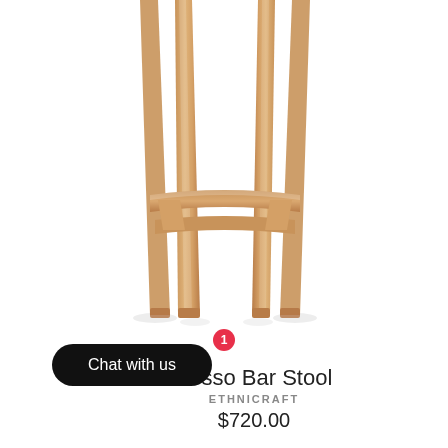[Figure (photo): Close-up photograph of the lower legs and crossbar of a wooden bar stool (Teak Osso Bar Stool by Ethnicraft). The stool has four tapered natural teak wood legs connected by horizontal stretcher bars, photographed against a white background. Only the bottom half of the stool is visible.]
ak Osso Bar Stool
ETHNICRAFT
$720.00
Chat with us